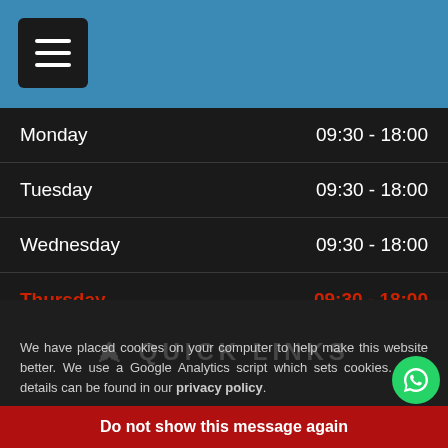[Figure (screenshot): Blue header bar with hamburger menu button (dark square with three horizontal white lines)]
| Day | Hours |
| --- | --- |
| Monday | 09:30 - 18:00 |
| Tuesday | 09:30 - 18:00 |
| Wednesday | 09:30 - 18:00 |
| Thursday | 09:30 - 18:00 |
| Friday | 09:30 - 18:00 |
| Saturday | 10:00 - 18:00 |
| Sunday | CLOSED |
We have placed cookies on your computer to help make this website better. We use a Google Analytics script which sets cookies. More details can be found in our privacy policy.
QUICK LINKS
Do not show this message again